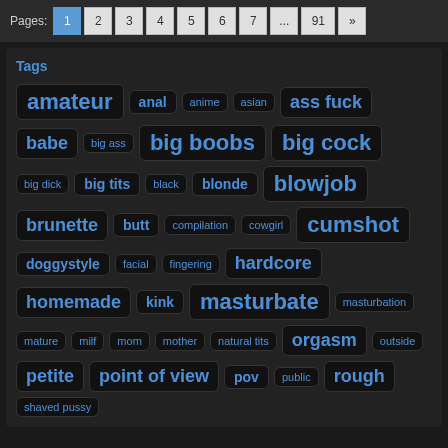Pages: 1 2 3 4 5 6 7 ... 91 »
Tags
amateur
anal
anime
asian
ass fuck
babe
big ass
big boobs
big cock
big dick
big tits
black
blonde
blowjob
brunette
butt
compilation
cowgirl
cumshot
doggystyle
facial
fingering
hardcore
homemade
kink
masturbate
masturbation
mature
milf
mom
mother
natural tits
orgasm
outside
petite
point of view
pov
public
rough
shaved pussy